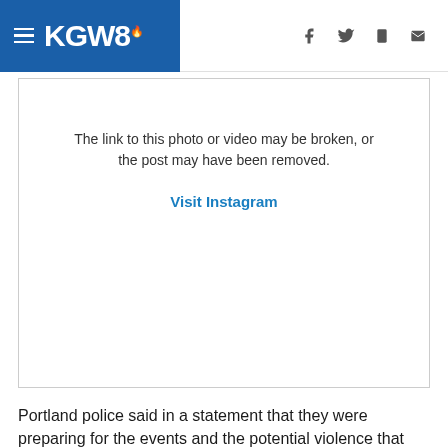KGW8
[Figure (screenshot): Broken Instagram embed placeholder showing message: 'The link to this photo or video may be broken, or the post may have been removed.' with a 'Visit Instagram' link.]
Portland police said in a statement that they were preparing for the events and the potential violence that could erupt:
Numerous past mass gathering events in the city of Portland, involving individuals and groups with differing